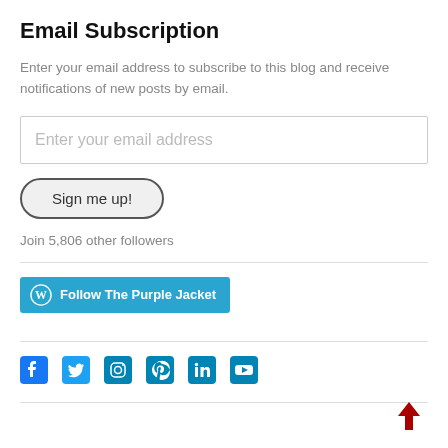Email Subscription
Enter your email address to subscribe to this blog and receive notifications of new posts by email.
Enter your email address
Sign me up!
Join 5,806 other followers
[Figure (other): Follow The Purple Jacket button with WordPress logo on teal background]
[Figure (other): Social media icons row: Facebook, Twitter, Instagram, Pinterest, LinkedIn, YouTube in blue]
[Figure (other): Red downward arrow icon in bottom right corner]